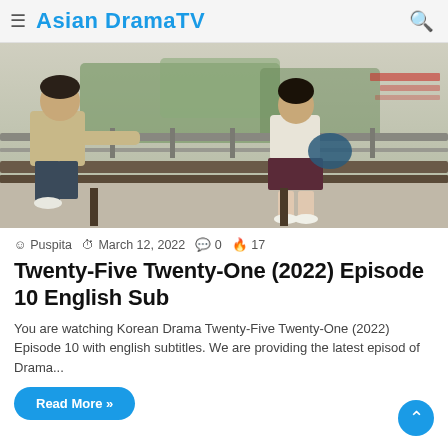≡ Asian DramaTV
[Figure (photo): Two people sitting on a bench outdoors — a man on the left in beige shirt and dark trousers, a girl on the right in school uniform with a bag, in an urban setting]
Puspita  March 12, 2022  0  17
Twenty-Five Twenty-One (2022) Episode 10 English Sub
You are watching Korean Drama Twenty-Five Twenty-One (2022) Episode 10 with english subtitles. We are providing the latest episod of Drama...
Read More »